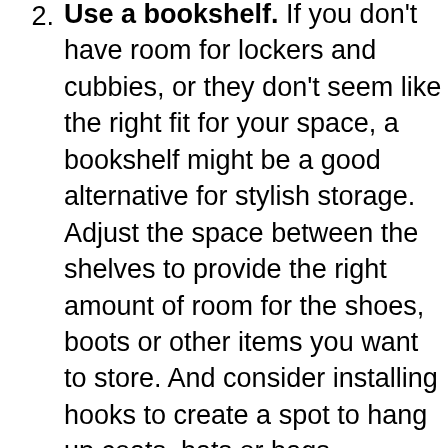2. Use a bookshelf. If you don't have room for lockers and cubbies, or they don't seem like the right fit for your space, a bookshelf might be a good alternative for stylish storage. Adjust the space between the shelves to provide the right amount of room for the shoes, boots or other items you want to store. And consider installing hooks to create a spot to hang up coats, hats or bags.
3. Place a tray for boots. Want to keep the mud out of your mudroom? Boot trays are a simple way to limit the amount of dirt, mud and water that gets onto your tile floor or carpet. These trays are an inexpensive purchase at most home stores, but you can always use an old baking sheet if you're in a pinch. To keep your space looking fresh, be sure to give the tray a